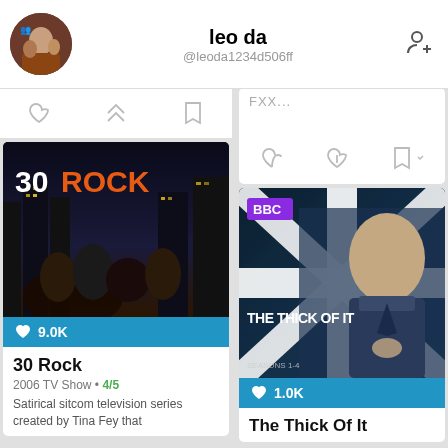leo da @leoda1234d506ff
[Figure (screenshot): 30 Rock TV show poster with cast photo, city skyline background, 9.0K likes]
30 Rock
2006 TV Show • 4/5
Satirical sitcom television series created by Tina Fey that
[Figure (screenshot): The Thick Of It BBC TV show poster with man in suit, Union Jack background, 1.0K likes]
The Thick Of It